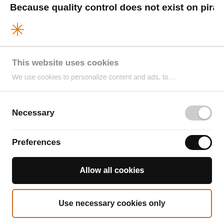Because quality control does not exist on pirated
[Figure (logo): Orange asterisk/snowflake logo icon]
This website uses cookies
We use cookies to personalize content and ads, to…
Necessary
[Figure (other): Toggle switch in OFF state (gray)]
Preferences
[Figure (other): Toggle switch in ON state (black), partially visible]
Allow all cookies
Use necessary cookies only
Powered by Cookiebot by Usercentrics